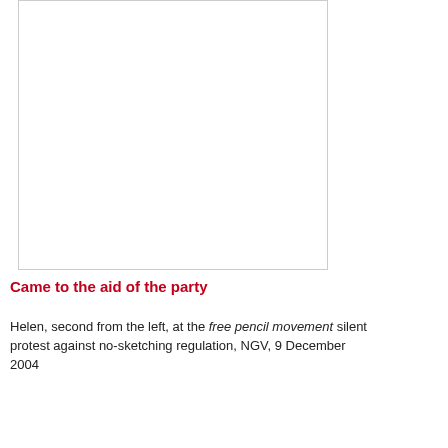[Figure (illustration): Arrangement of red pencil icons in a triangular/staircase pattern, decreasing from 6 pencils in the top row to 1 pencil at the bottom, forming a descending right-triangle shape.]
Came to the aid of the party
Helen, second from the left, at the free pencil movement silent protest against no-sketching regulation, NGV, 9 December 2004